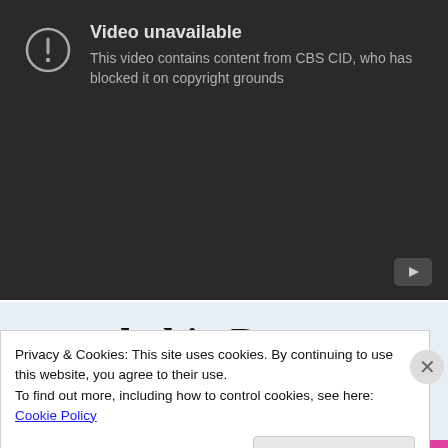[Figure (screenshot): YouTube video unavailable embed showing a dark gray background with an exclamation icon, 'Video unavailable' title, and subtitle 'This video contains content from CBS CID, who has blocked it on copyright grounds'. A YouTube play button is visible at bottom right.]
[Figure (screenshot): WordPress advertisement with light blue background showing large serif text 'habit. Post on the go.' with 'GET THE APP' call to action link and WordPress logo circle icon.]
Privacy & Cookies: This site uses cookies. By continuing to use this website, you agree to their use.
To find out more, including how to control cookies, see here: Cookie Policy